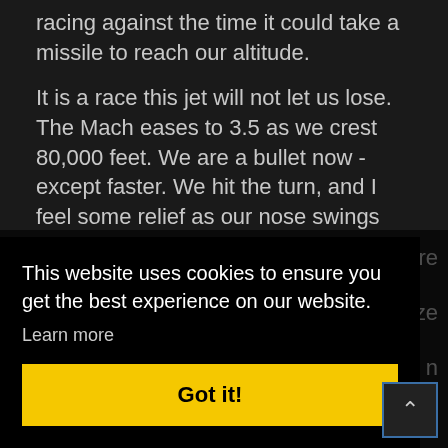racing against the time it could take a missile to reach our altitude.
It is a race this jet will not let us lose. The Mach eases to 3.5 as we crest 80,000 feet. We are a bullet now - except faster. We hit the turn, and I feel some relief as our nose swings away from a country we have seen quite enough of. Screaming past Tripoli, our phenomenal speed continues to rise, and the [more] [ize] [n]
This website uses cookies to ensure you get the best experience on our website.
Learn more
Got it!